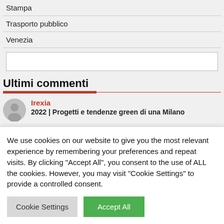Stampa
Trasporto pubblico
Venezia
[Figure (other): Empty search input box]
Ultimi commenti
Irexia
2022 | Progetti e tendenze green di una Milano
We use cookies on our website to give you the most relevant experience by remembering your preferences and repeat visits. By clicking "Accept All", you consent to the use of ALL the cookies. However, you may visit "Cookie Settings" to provide a controlled consent.
Cookie Settings   Accept All